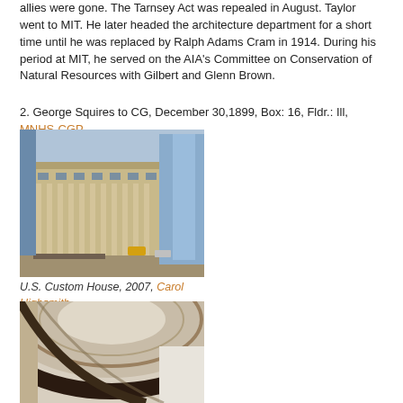allies were gone. The Tarnsey Act was repealed in August. Taylor went to MIT. He later headed the architecture department for a short time until he was replaced by Ralph Adams Cram in 1914. During his period at MIT, he served on the AIA's Committee on Conservation of Natural Resources with Gilbert and Glenn Brown.
2. George Squires to CG, December 30,1899, Box: 16, Fldr.: Ill, MNHS-CGP.
[Figure (photo): Exterior photograph of the U.S. Custom House, a large neoclassical building with columns and ornate stonework, taken in 2007 by Carol Highsmith. Street-level view showing pedestrians and vehicles.]
U.S. Custom House, 2007, Carol Highsmith
[Figure (photo): Interior architectural photograph showing a detail of a curved dome or rotunda ceiling with decorative elements, taken from an angled perspective.]